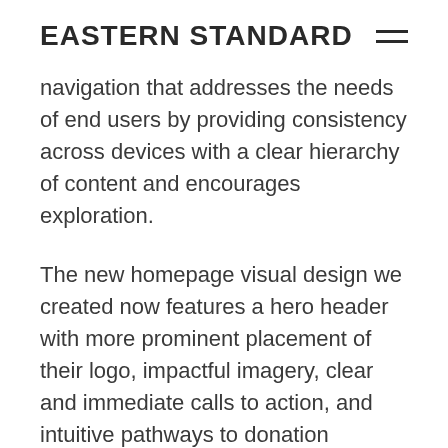EASTERN STANDARD
navigation that addresses the needs of end users by providing consistency across devices with a clear hierarchy of content and encourages exploration.
The new homepage visual design we created now features a hero header with more prominent placement of their logo, impactful imagery, clear and immediate calls to action, and intuitive pathways to donation options.